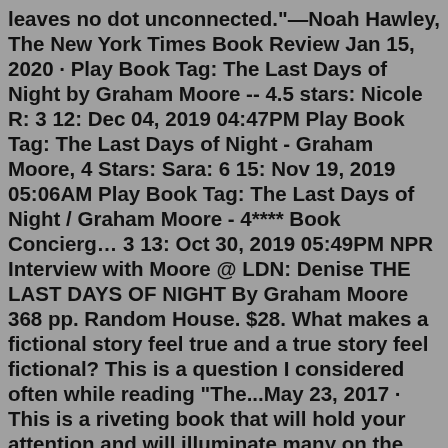leaves no dot unconnected."—Noah Hawley, The New York Times Book Review Jan 15, 2020 · Play Book Tag: The Last Days of Night by Graham Moore -- 4.5 stars: Nicole R: 3 12: Dec 04, 2019 04:47PM Play Book Tag: The Last Days of Night - Graham Moore, 4 Stars: Sara: 6 15: Nov 19, 2019 05:06AM Play Book Tag: The Last Days of Night / Graham Moore - 4**** Book Concierg… 3 13: Oct 30, 2019 05:49PM NPR Interview with Moore @ LDN: Denise THE LAST DAYS OF NIGHT By Graham Moore 368 pp. Random House. $28. What makes a fictional story feel true and a true story feel fictional? This is a question I considered often while reading "The...May 23, 2017 · This is a riveting book that will hold your attention and will illuminate many on the birth of light in America. Part legal thriller, part romance, injected with a history lesson. Worth the read."—Historical Novel Society "Mesmerizing, clever, and absolutely crackling, The Last Days of Night is a triumph of imagination. Graham Moore has ... Jan 15, 2020 · Play Book Tag: The Last Days of Night by Graha…